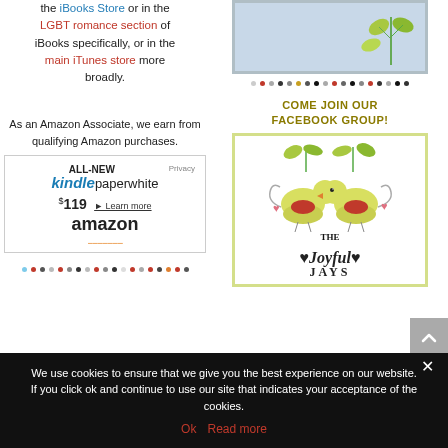the iBooks Store or in the LGBT romance section of iBooks specifically, or in the main iTunes store more broadly.
[Figure (illustration): Book cover or decorative image with leaf/branch illustration on blue-grey background]
[Figure (infographic): Row of decorative dots in various colors]
As an Amazon Associate, we earn from qualifying Amazon purchases.
[Figure (screenshot): Amazon advertisement for Kindle Paperwhite, ALL-NEW, $119, Learn more, amazon]
[Figure (infographic): Row of decorative dots in various colors]
COME JOIN OUR FACEBOOK GROUP!
[Figure (illustration): The Joyful Jays Facebook group image with two illustrated birds facing each other under leaf branches, pink hearts, on white background with yellow-green border]
We use cookies to ensure that we give you the best experience on our website. If you click ok and continue to use our site that indicates your acceptance of the cookies.
Ok   Read more